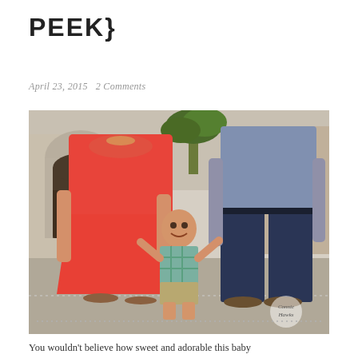PEEK}
April 23, 2015   2 Comments
[Figure (photo): Family photo of a woman in a red maxi dress, a toddler boy in a plaid shirt and khaki shorts standing between the parents, and a man in a blue long-sleeve shirt and dark jeans, photographed from shoulders/neck down. They are standing outdoors in what appears to be a plaza or courtyard with arched architecture and palm trees in the background. The toddler is holding both parents' hands, smiling. A watermark reading 'Connie Hawks' is visible in the bottom right corner.]
You wouldn't believe how sweet and adorable this baby